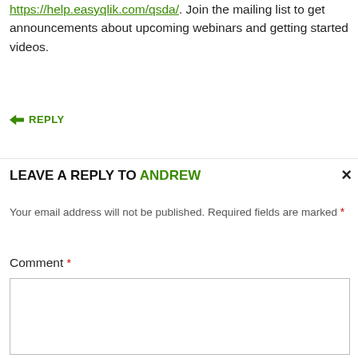You can learn how to use QSDA Pro from the help site https://help.easyqlik.com/qsda/. Join the mailing list to get announcements about upcoming webinars and getting started videos.
↳ REPLY
LEAVE A REPLY TO ANDREW ×
Your email address will not be published. Required fields are marked *
Comment *